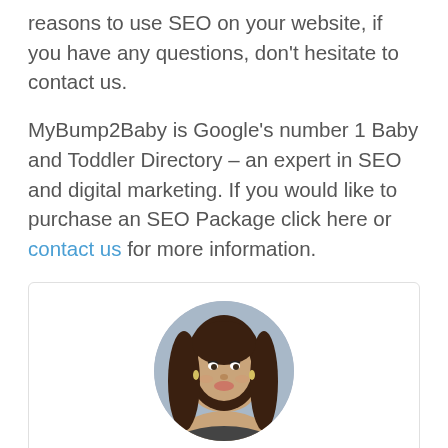reasons to use SEO on your website, if you have any questions, don't hesitate to contact us.
MyBump2Baby is Google's number 1 Baby and Toddler Directory – an expert in SEO and digital marketing. If you would like to purchase an SEO Package click here or contact us for more information.
[Figure (photo): Circular portrait photo of a woman with long dark hair, smiling, against a light blue/grey background]
Carla Lett
Carla is the founder of MyBump2Baby. Carla has...